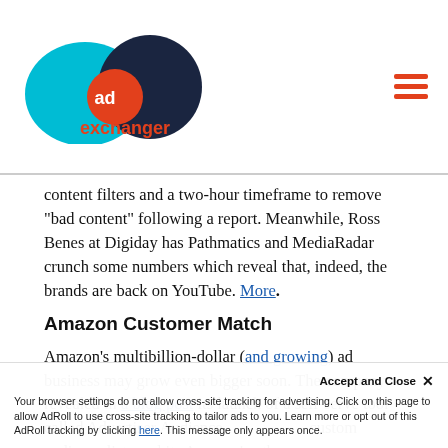AdExchanger logo and navigation
content filters and a two-hour timeframe to remove “bad content” following a report. Meanwhile, Ross Benes at Digiday has Pathmatics and MediaRadar crunch some numbers which reveal that, indeed, the brands are back on YouTube. More.
Amazon Customer Match
Amazon’s multibillion-dollar (and growing) ad business may grow even bigger soon. The company revealed in a blog post its launch of a self-serve tool called Advertiser Audience...
Your browser settings do not allow cross-site tracking for advertising. Click on this page to allow AdRoll to use cross-site tracking to tailor ads to you. Learn more or opt out of this AdRoll tracking by clicking here. This message only appears once.